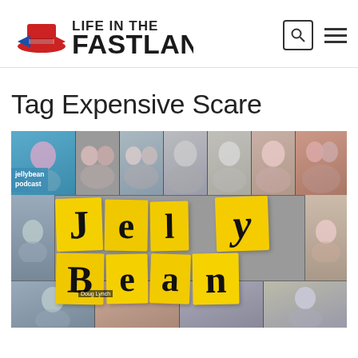LIFE IN THE FASTLANE
Tag Expensive Scare
[Figure (photo): Jellybean podcast promotional image showing multiple people's photos arranged in a collage with large yellow sticky-note letters spelling out 'Jelly Bean' in the center. A label in the upper left reads 'jellybean podcast'. The name 'Doug Lynch' appears at the bottom.]